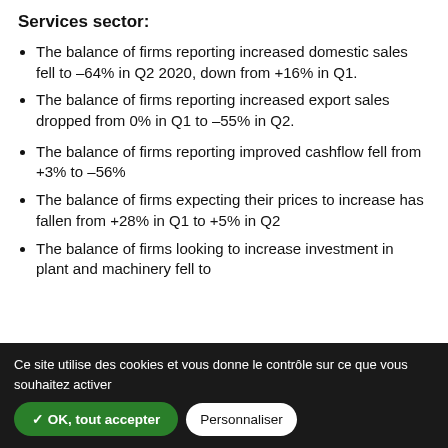Services sector:
The balance of firms reporting increased domestic sales fell to –64% in Q2 2020, down from +16% in Q1.
The balance of firms reporting increased export sales dropped from 0% in Q1 to –55% in Q2.
The balance of firms reporting improved cashflow fell from +3% to –56%
The balance of firms expecting their prices to increase has fallen from +28% in Q1 to +5% in Q2
The balance of firms looking to increase investment in plant and machinery fell to
Ce site utilise des cookies et vous donne le contrôle sur ce que vous souhaitez activer  ✓ OK, tout accepter  Personnaliser